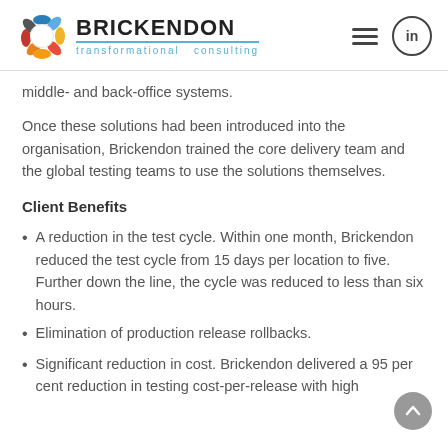[Figure (logo): Brickendon transformational consulting logo with colorful geometric icon]
middle- and back-office systems.
Once these solutions had been introduced into the organisation, Brickendon trained the core delivery team and the global testing teams to use the solutions themselves.
Client Benefits
A reduction in the test cycle. Within one month, Brickendon reduced the test cycle from 15 days per location to five. Further down the line, the cycle was reduced to less than six hours.
Elimination of production release rollbacks.
Significant reduction in cost. Brickendon delivered a 95 per cent reduction in testing cost-per-release with high